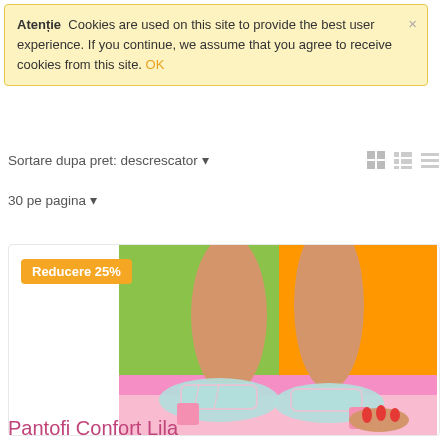Atenție  Cookies are used on this site to provide the best user experience. If you continue, we assume that you agree to receive cookies from this site. OK
Sortare dupa pret: descrescator ▼
30 pe pagina ▼
[Figure (photo): Product photo of colorful heeled shoes (Pantofi Confort Lila) with mint/pink patterned uppers and pink block heels on a colorful background, with orange 'Reducere 25%' badge]
Pantofi Confort Lila